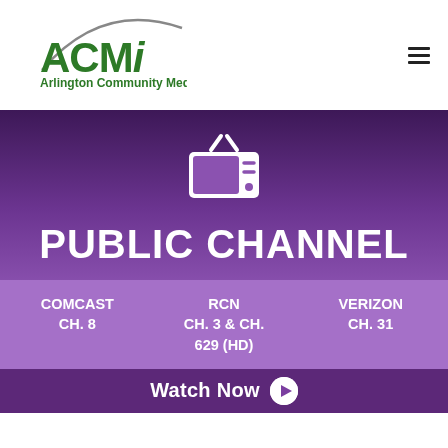[Figure (logo): ACMi Arlington Community Media Inc. logo in green with stylized arc]
[Figure (infographic): Purple banner with white TV icon, text PUBLIC CHANNEL, and cable provider channel info: COMCAST CH. 8, RCN CH. 3 & CH. 629 (HD), VERIZON CH. 31]
Watch Now